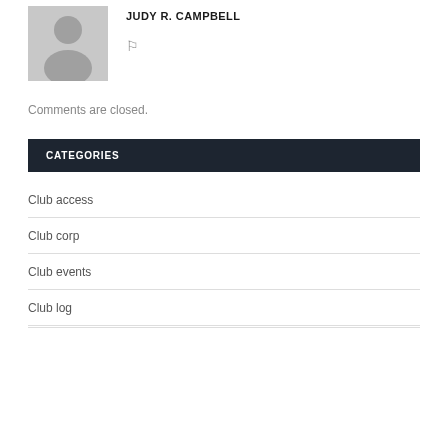[Figure (photo): Gray placeholder avatar silhouette of a person]
JUDY R. CAMPBELL
🔖
Comments are closed.
CATEGORIES
Club access
Club corp
Club events
Club log